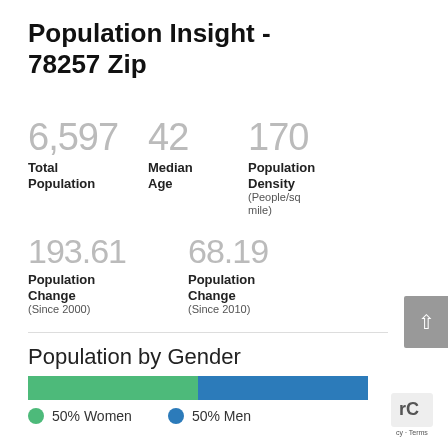Population Insight - 78257 Zip
6,597  42
Total Population  Median Age
170
Population Density (People/sq mile)
193.61
Population Change (Since 2000)
68.19
Population Change (Since 2010)
Population by Gender
[Figure (stacked-bar-chart): Population by Gender]
50% Women   50% Men